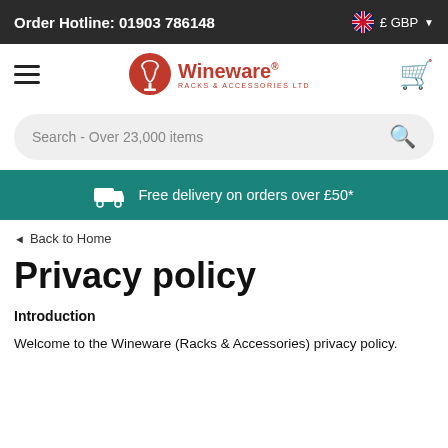Order Hotline: 01903 786148   £ GBP
[Figure (logo): Wineware Racks & Accessories Ltd logo with red circle icon and red text]
Search - Over 23,000 items
Free delivery on orders over £50*
◄ Back to Home
Privacy policy
Introduction
Welcome to the Wineware (Racks & Accessories) privacy policy.